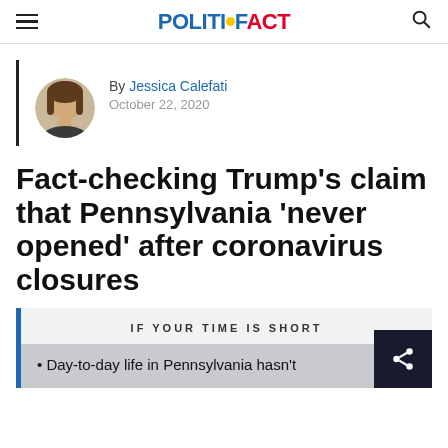POLITIFACT
By Jessica Calefati
October 22, 2020
Fact-checking Trump’s claim that Pennsylvania ‘never opened’ after coronavirus closures
IF YOUR TIME IS SHORT
Day-to-day life in Pennsylvania hasn’t